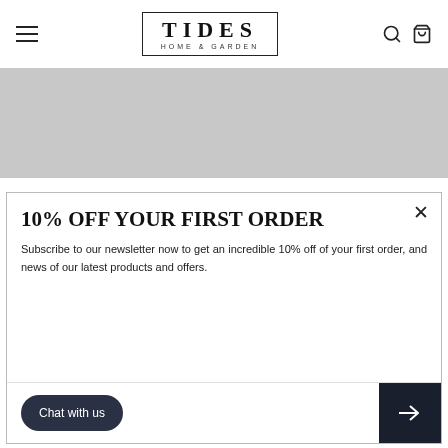TIDES HOME & GARDEN
[Figure (photo): Hero banner image placeholder, light gray background]
[Figure (screenshot): Newsletter popup modal with title '10% OFF YOUR FIRST ORDER', body text, chat button, email input, and submit arrow button]